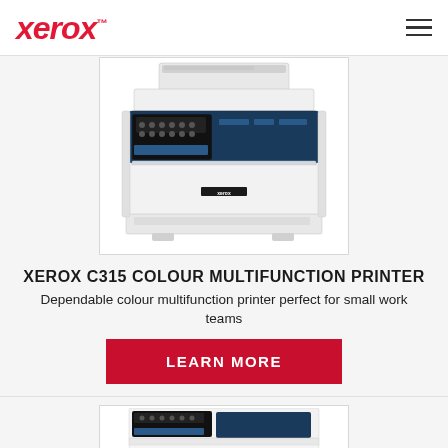Xerox™
[Figure (photo): Xerox C315 Colour Multifunction Printer product photo — white and navy multifunction printer with ADF, control panel, and keypad, shown against white background]
XEROX C315 COLOUR MULTIFUNCTION PRINTER
Dependable colour multifunction printer perfect for small work teams
LEARN MORE
[Figure (photo): Partial view of a second Xerox printer model at the bottom of the page]